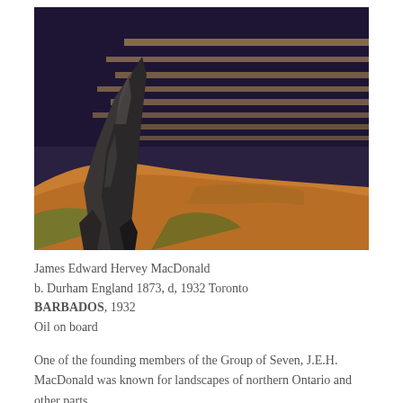[Figure (photo): Oil painting of a coastal landscape with a large dark rocky cliff or sea stack in the foreground left, golden-orange grassy hillside in the lower portion, and a dark indigo/purple ocean with textured wave patterns in the background. The painting style is impressionistic.]
James Edward Hervey MacDonald
b. Durham England 1873, d, 1932 Toronto
BARBADOS, 1932
Oil on board
One of the founding members of the Group of Seven, J.E.H. MacDonald was known for landscapes of northern Ontario and other parts